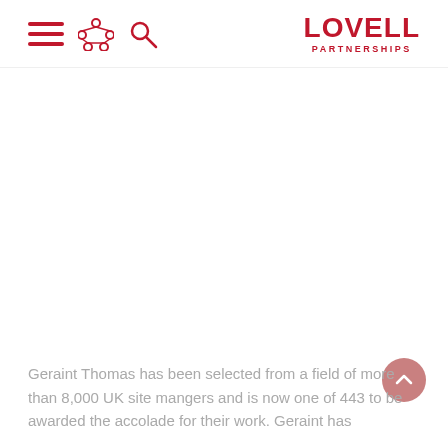Lovell Partnerships
Geraint Thomas has been selected from a field of more than 8,000 UK site mangers and is now one of 443 to be awarded the accolade for their work. Geraint has...